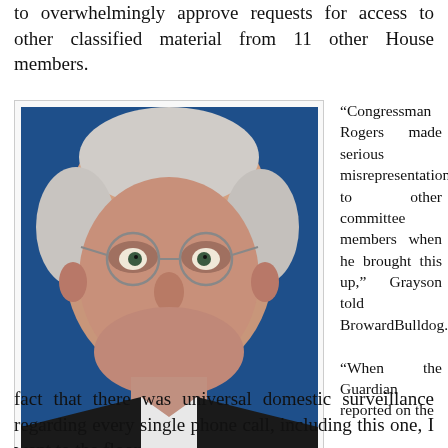to overwhelmingly approve requests for access to other classified material from 11 other House members.
[Figure (photo): Close-up photo of an elderly man with round glasses and white/grey hair wearing a dark suit, against a blue background. Caption reads: Cheney must be compelled to testify]
Cheney must be compelled to testify
“Congressman Rogers made serious misrepresentations to other committee members when he brought this up,” Grayson told BrowardBulldog.org.

“When the Guardian reported on the fact that there was universal domestic surveillance regarding every single phone call, including this one, I went to the floor